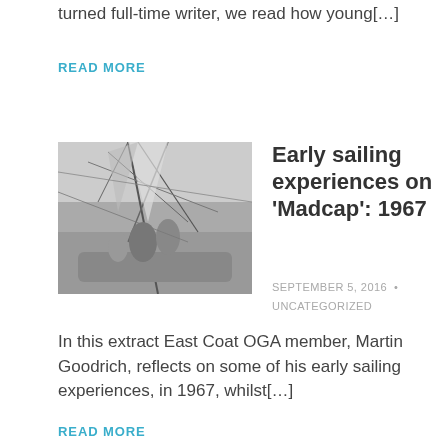turned full-time writer, we read how young[…]
READ MORE
[Figure (photo): Black and white photograph of people sailing on a boat, rigging and mast visible, crew members on deck]
Early sailing experiences on 'Madcap': 1967
SEPTEMBER 5, 2016 • UNCATEGORIZED
In this extract East Coat OGA member, Martin Goodrich, reflects on some of his early sailing experiences, in 1967, whilst[…]
READ MORE
OGA fleet at